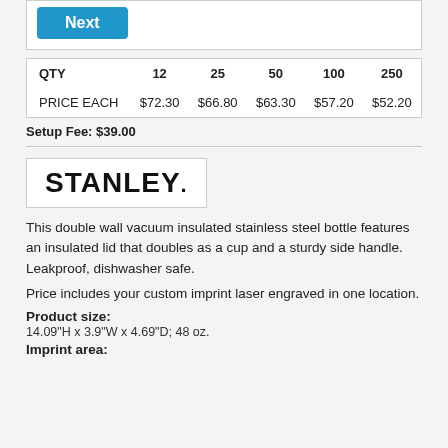| QTY | 12 | 25 | 50 | 100 | 250 |
| --- | --- | --- | --- | --- | --- |
| PRICE EACH | $72.30 | $66.80 | $63.30 | $57.20 | $52.20 |
Setup Fee: $39.00
[Figure (logo): Stanley brand logo in bold black text]
This double wall vacuum insulated stainless steel bottle features an insulated lid that doubles as a cup and a sturdy side handle. Leakproof, dishwasher safe.
Price includes your custom imprint laser engraved in one location.
Product size:
14.09"H x 3.9"W x 4.69"D; 48 oz.
Imprint area: